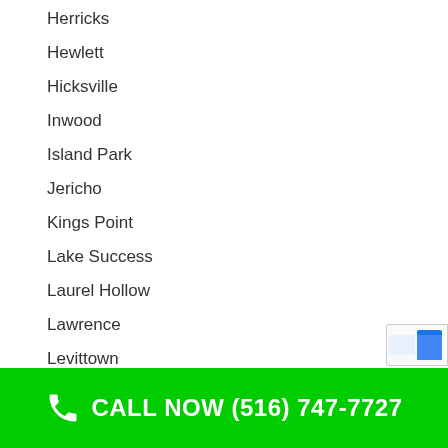Herricks
Hewlett
Hicksville
Inwood
Island Park
Jericho
Kings Point
Lake Success
Laurel Hollow
Lawrence
Levittown
Lido Beach
Locust Valley
Long Beach
Lynbrook
Manhasset
CALL NOW (516) 747-7727